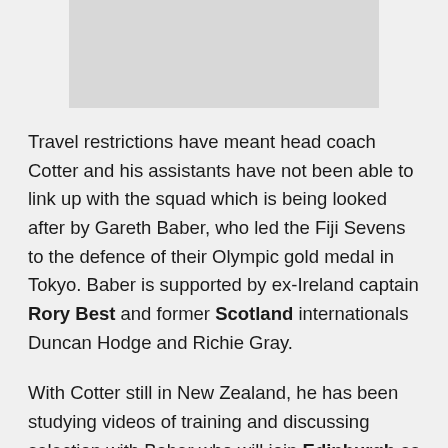[Figure (photo): Partially visible image placeholder at the top of the page]
Travel restrictions have meant head coach Cotter and his assistants have not been able to link up with the squad which is being looked after by Gareth Baber, who led the Fiji Sevens to the defence of their Olympic gold medal in Tokyo. Baber is supported by ex-Ireland captain Rory Best and former Scotland internationals Duncan Hodge and Richie Gray.
With Cotter still in New Zealand, he has been studying videos of training and discussing selection with Baber who will join Edinburgh as an assistant